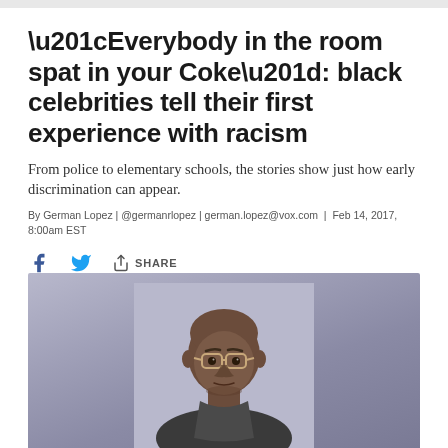“Everybody in the room spat in your Coke”: black celebrities tell their first experience with racism
From police to elementary schools, the stories show just how early discrimination can appear.
By German Lopez | @germanrlopez | german.lopez@vox.com | Feb 14, 2017, 8:00am EST
[Figure (photo): Head and shoulders portrait of a bald Black man wearing glasses, photographed against a light grey/lavender background.]